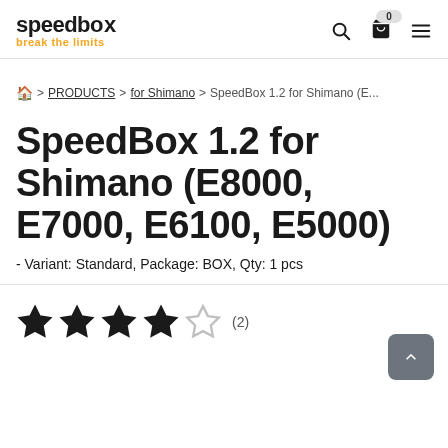speedbox break the limits
🏠 > PRODUCTS > for Shimano > SpeedBox 1.2 for Shimano (E...
SpeedBox 1.2 for Shimano (E8000, E7000, E6100, E5000)
- Variant: Standard, Package: BOX, Qty: 1 pcs
[Figure (other): Star rating: 4 out of 5 stars, (2) reviews]